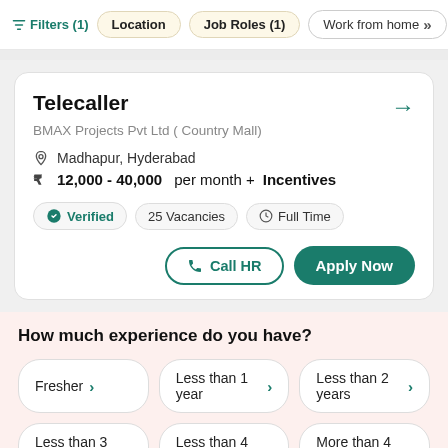Filters (1)  Location  Job Roles (1)  Work from home
Telecaller
BMAX Projects Pvt Ltd ( Country Mall)
Madhapur, Hyderabad
₹ 12,000 - 40,000 per month + Incentives
Verified  25 Vacancies  Full Time
Call HR  Apply Now
How much experience do you have?
Fresher
Less than 1 year
Less than 2 years
Less than 3 years
Less than 4 years
More than 4 years